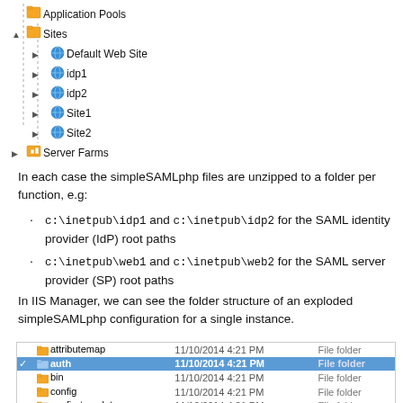[Figure (screenshot): Windows IIS Manager tree showing Application Pools, Sites (with Default Web Site, idp1, idp2, Site1, Site2), and Server Farms nodes]
In each case the simpleSAMLphp files are unzipped to a folder per function, e.g:
c:\inetpub\idp1 and c:\inetpub\idp2 for the SAML identity provider (IdP) root paths
c:\inetpub\web1 and c:\inetpub\web2 for the SAML server provider (SP) root paths
In IIS Manager, we can see the folder structure of an exploded simpleSAMLphp configuration for a single instance.
[Figure (screenshot): Windows Explorer folder listing showing simpleSAMLphp folders: attributemap, auth (selected), bin, config, config-templates, dictionaries, docs, extra, lib — all dated 11/10/2014 4:21 PM, File folder type]